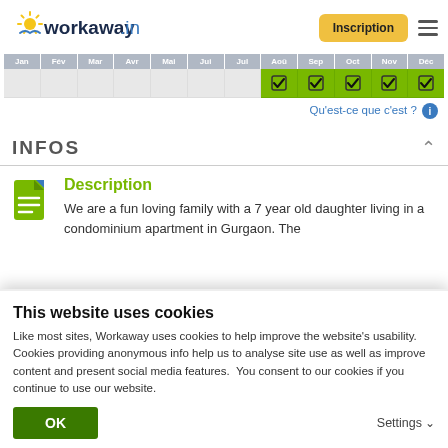[Figure (logo): workaway.info logo with sun graphic]
[Figure (screenshot): Monthly availability calendar with checkmarks for Aou, Sep, Oct, Nov, Dec months highlighted in green]
Qu'est-ce que c'est ?
INFOS
Description
We are a fun loving family with a 7 year old daughter living in a condominium apartment in Gurgaon. The
This website uses cookies
Like most sites, Workaway uses cookies to help improve the website's usability. Cookies providing anonymous info help us to analyse site use as well as improve content and present social media features.  You consent to our cookies if you continue to use our website.
OK
Settings